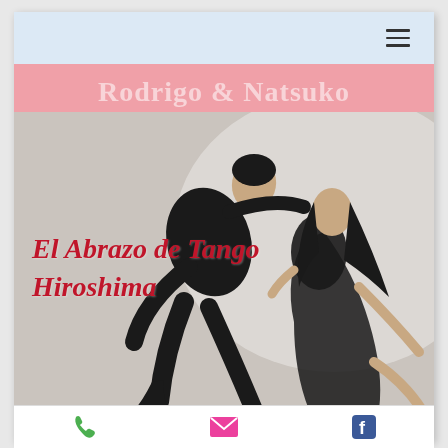Navigation bar with hamburger menu
[Figure (photo): Two tango dancers, man in black suit and woman in black lace dress, performing a dramatic tango pose against a light background, with script text overlay reading 'El Abrazo de Tango Hiroshima']
El Abrazo de Tango Hiroshima
Rodrigo & Natsuko
Phone, email, and Facebook icons in bottom action bar